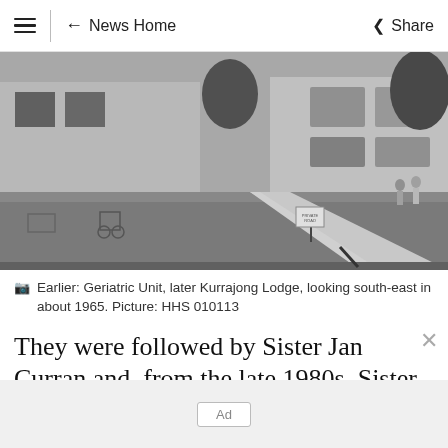≡ | ← News Home   Share
[Figure (photo): Black and white photograph of the Geriatric Unit, later Kurrajong Lodge, looking south-east in about 1965. Shows a lawn area with a path, a sign, figures standing near the building, and a wheelchair visible on the left.]
Earlier: Geriatric Unit, later Kurrajong Lodge, looking south-east in about 1965. Picture: HHS 010113
They were followed by Sister Jan Curran and, from the late 1980s, Sister Dianne Johnson.